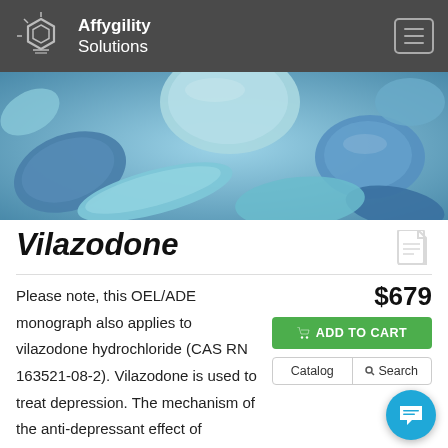Affygility Solutions
[Figure (photo): Close-up photo of various blue and teal pharmaceutical pills and tablets]
Vilazodone
Please note, this OEL/ADE monograph also applies to vilazodone hydrochloride (CAS RN 163521-08-2). Vilazodone is used to treat depression. The mechanism of the anti-depressant effect of vilazodone in not clearly understood. It is a serotonin reuptake inhibition and a 5-HT receptor agonist and may treat depression by enhancing serotonergic concentrations and...
$679
ADD TO CART
Catalog   Search